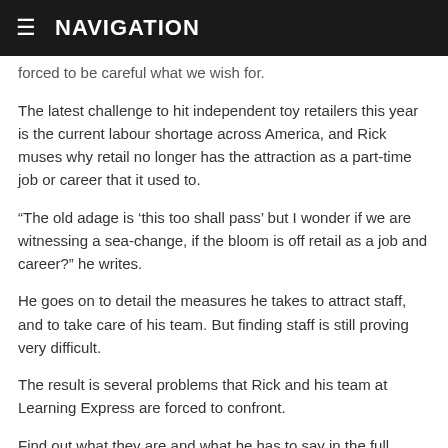≡  NAVIGATION
forced to be careful what we wish for.
The latest challenge to hit independent toy retailers this year is the current labour shortage across America, and Rick muses why retail no longer has the attraction as a part-time job or career that it used to.
“The old adage is ‘this too shall pass’ but I wonder if we are witnessing a sea-change, if the bloom is off retail as a job and career?” he writes.
He goes on to detail the measures he takes to attract staff, and to take care of his team. But finding staff is still proving very difficult.
The result is several problems that Rick and his team at Learning Express are forced to confront.
Find out what they are and what he has to say in the full column which appeared in the November edition of Toy World, here.